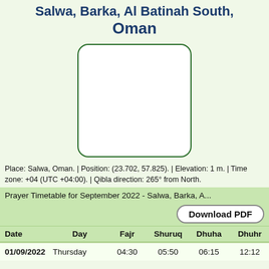Salwa, Barka, Al Batinah South, Oman
[Figure (map): Map placeholder box with green rounded border]
Place: Salwa, Oman. | Position: (23.702, 57.825). | Elevation: 1 m. | Time zone: +04 (UTC +04:00). | Qibla direction: 265° from North.
Prayer Timetable for September 2022 - Salwa, Barka, A...
| Date | Day | Fajr | Shuruq | Dhuha | Dhuhr | A... |
| --- | --- | --- | --- | --- | --- | --- |
| 01/09/2022 | Thursday | 04:30 | 05:50 | 06:15 | 12:12 | 1... |